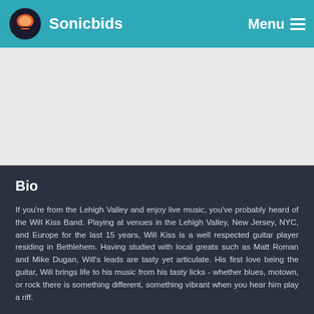Sonicbids — Menu
[Figure (photo): Large image area placeholder, light gray background]
Bio
If you're from the Lehigh Valley and enjoy live music, you've probably heard of the Will Kiss Band. Playing at venues in the Lehigh Valley, New Jersey, NYC, and Europe for the last 15 years, Will Kiss is a well respected guitar player residing in Bethlehem. Having studied with local greats such as Matt Roman and Mike Dugan, Will's leads are tasty yet articulate. His first love being the guitar, Will brings life to his music from his tasty licks - whether blues, motown, or rock there is something different, something vibrant when you hear him play a riff.